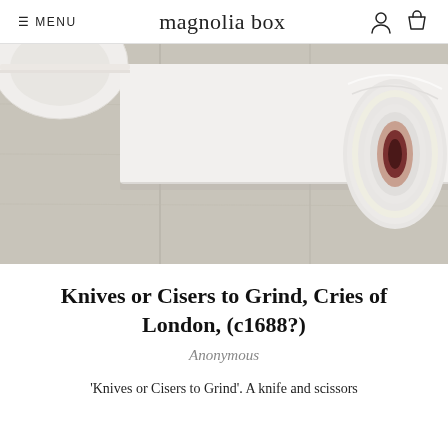≡ MENU   magnolia box
[Figure (photo): A rolled-up canvas or poster on a light wood surface, with a partial view of a white bowl in the upper left corner. The rolled paper shows its dark red/maroon interior at the opening.]
Knives or Cisers to Grind, Cries of London, (c1688?)
Anonymous
'Knives or Cisers to Grind'. A knife and scissors